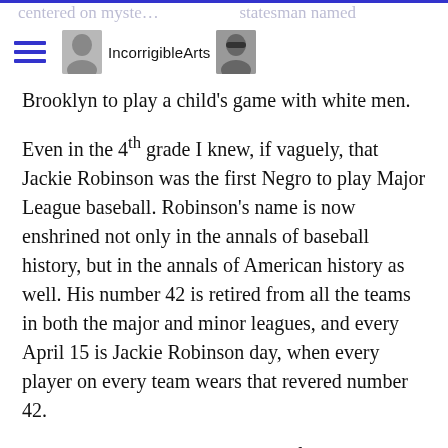IncorrigibleArts
Brooklyn to play a child's game with white men.
Even in the 4th grade I knew, if vaguely, that Jackie Robinson was the first Negro to play Major League baseball. Robinson's name is now enshrined not only in the annals of baseball history, but in the annals of American history as well. His number 42 is retired from all the teams in both the major and minor leagues, and every April 15 is Jackie Robinson day, when every player on every team wears that revered number 42.
Everybody remembers who came first.
But I remember the man who came second*.
Now batting for the Brooklyn Dodgers, three times the National League's Most Valuable Player and eight times